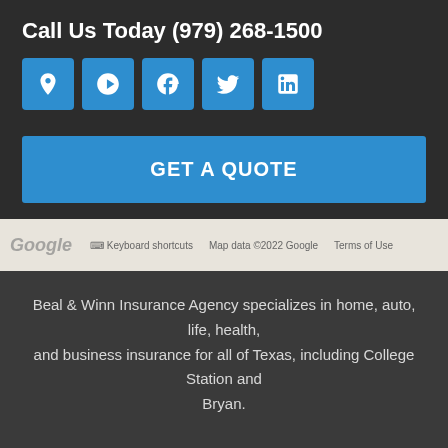Call Us Today (979) 268-1500
[Figure (infographic): Five social media icon buttons (location pin, Yelp, Facebook, Twitter, LinkedIn) in blue rounded squares]
GET A QUOTE
[Figure (screenshot): Google Maps strip showing map attribution: Google logo, keyboard shortcuts, Map data ©2022 Google, Terms of Use]
Beal & Winn Insurance Agency specializes in home, auto, life, health, and business insurance for all of Texas, including College Station and Bryan.
© Copyright 2022. Beal & Winn Insurance Agency | Privacy Statement | Accessibility Statement | Login